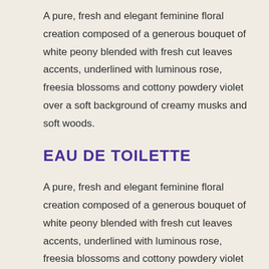A pure, fresh and elegant feminine floral creation composed of a generous bouquet of white peony blended with fresh cut leaves accents, underlined with luminous rose, freesia blossoms and cottony powdery violet over a soft background of creamy musks and soft woods.
EAU DE TOILETTE
A pure, fresh and elegant feminine floral creation composed of a generous bouquet of white peony blended with fresh cut leaves accents, underlined with luminous rose, freesia blossoms and cottony powdery violet over a soft background of creamy musks and soft woods.